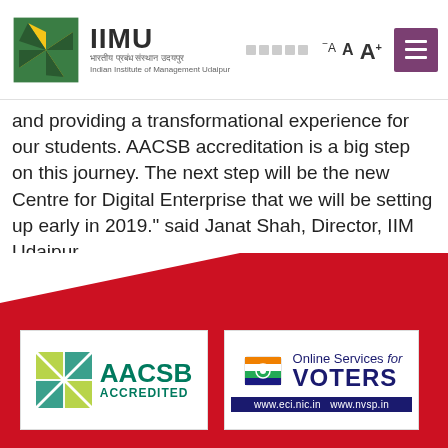IIMU – Indian Institute of Management Udaipur
and providing a transformational experience for our students. AACSB accreditation is a big step on this journey. The next step will be the new Centre for Digital Enterprise that we will be setting up early in 2019." said Janat Shah, Director, IIM Udaipur.
To know more about the AACSB accreditation, please check this link- aacsb.edu/accreditation
[Figure (logo): AACSB Accredited logo badge with green and teal geometric shapes]
[Figure (logo): Online Services for VOTERS badge with EC of India logo, www.eci.nic.in and www.nvsp.in URLs]